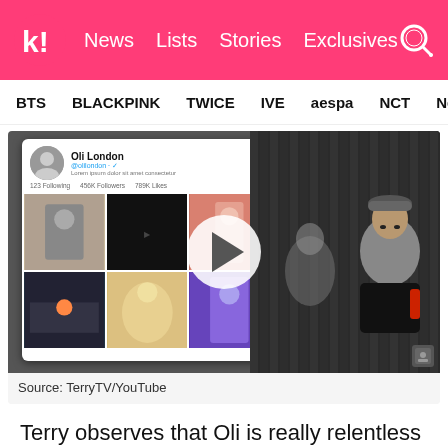K! News | Lists | Stories | Exclusives
BTS | BLACKPINK | TWICE | IVE | aespa | NCT | NewJ
[Figure (screenshot): Video thumbnail showing Oli London's social media profile grid on the left and a man wearing a dark cap speaking on camera on the right, with a play button overlay in the center.]
Source: TerryTV/YouTube
Terry observes that Oli is really relentless with display his love for Jimin, even wearing a shirt